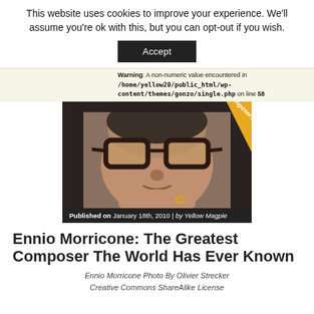This website uses cookies to improve your experience. We'll assume you're ok with this, but you can opt-out if you wish.
Accept
Warning: A non-numeric value encountered in /home/yellow20/public_html/wp-content/themes/gonzo/single.php on line 58
[Figure (photo): Portrait photo of Ennio Morricone wearing large dark-framed glasses, resting chin on hand, with a 'Composers' badge in the top-right corner of the image.]
Published on January 18th, 2010 | by Yellow Magpie
Ennio Morricone: The Greatest Composer The World Has Ever Known
Ennio Morricone Photo By Olivier Strecker
Creative Commons ShareAlike License